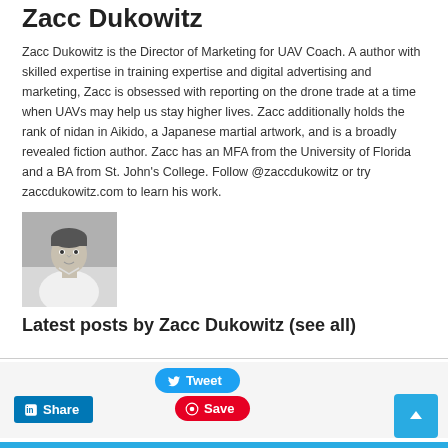Zacc Dukowitz
Zacc Dukowitz is the Director of Marketing for UAV Coach. A author with skilled expertise in training expertise and digital advertising and marketing, Zacc is obsessed with reporting on the drone trade at a time when UAVs may help us stay higher lives. Zacc additionally holds the rank of nidan in Aikido, a Japanese martial artwork, and is a broadly revealed fiction author. Zacc has an MFA from the University of Florida and a BA from St. John’s College. Follow @zaccdukowitz or try zaccdukowitz.com to learn his work.
[Figure (photo): Black and white portrait photo of Zacc Dukowitz, a man in a white shirt]
Latest posts by Zacc Dukowitz (see all)